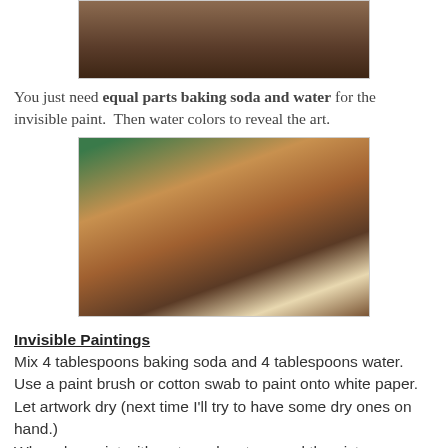[Figure (photo): Top portion of a photo showing a wooden table with papers and a glass, cropped at top]
You just need equal parts baking soda and water for the invisible paint.  Then water colors to reveal the art.
[Figure (photo): Child holding a green paintbrush, painting on white paper on a wooden table with a glass of water nearby]
Invisible Paintings
Mix 4 tablespoons baking soda and 4 tablespoons water. Use a paint brush or cotton swab to paint onto white paper. Let artwork dry (next time I'll try to have some dry ones on hand.)
When dry, paint with water colors to reveal the picture.